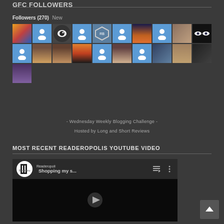GFC FOLLOWERS
Followers (270) New
[Figure (other): Grid of 21 follower avatar thumbnails arranged in 3 rows]
[Figure (other): Follow button (blue rounded rectangle)]
- Wednesday Weekly Blogging Challenge -
Hosted by Long and Short Reviews
MOST RECENT READEROPOLIS YOUTUBE VIDEO
[Figure (screenshot): YouTube video thumbnail showing Readeropolis channel logo and title 'Shopping my s...' with playlist and options icons]